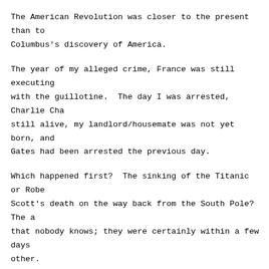The American Revolution was closer to the present than to Columbus's discovery of America.
The year of my alleged crime, France was still executing with the guillotine.  The day I was arrested, Charlie Chaplin was still alive, my landlord/housemate was not yet born, and Gates had been arrested the previous day.
Which happened first?  The sinking of the Titanic or Robert Scott's death on the way back from the South Pole?  The answer is that nobody knows; they were certainly within a few days of each other.
The two deadliest transportation disasters of the 20th ce...